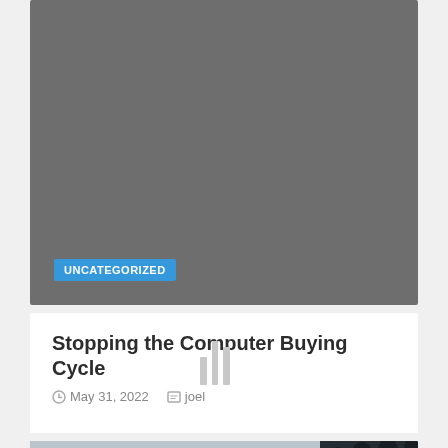[Figure (photo): Dark gray placeholder image for a blog post card header]
UNCATEGORIZED
Stopping the Computer Buying Cycle
May 31, 2022   joel
[Figure (photo): Fashion runway photo showing three female models walking in patterned black and white outfits with audience on both sides and stage lighting above]